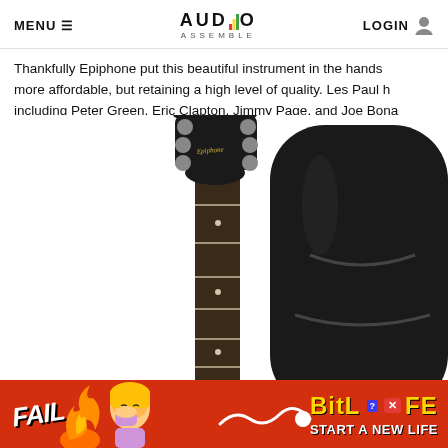MENU  AUDIO ASSEMBLE  LOGIN
Thankfully Epiphone put this beautiful instrument in the hands of more affordable, but retaining a high level of quality. Les Paul h including Peter Green, Eric Clapton, Jimmy Page, and Joe Bona
[Figure (photo): Epiphone guitar headstock and neck alongside a black guitar gig bag]
[Figure (infographic): BitLife advertisement banner showing FAIL text, cartoon girl, flames, and START A NEW LIFE text]